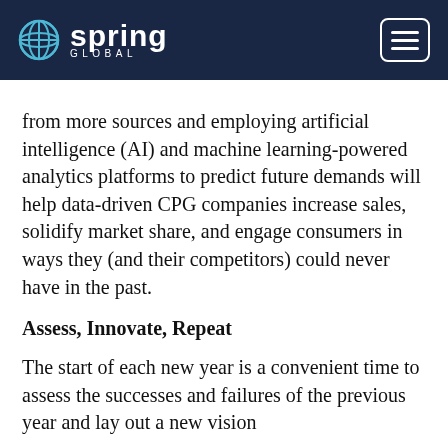Spring Global
from more sources and employing artificial intelligence (AI) and machine learning-powered analytics platforms to predict future demands will help data-driven CPG companies increase sales, solidify market share, and engage consumers in ways they (and their competitors) could never have in the past.
Assess, Innovate, Repeat
The start of each new year is a convenient time to assess the successes and failures of the previous year and lay out a new vision